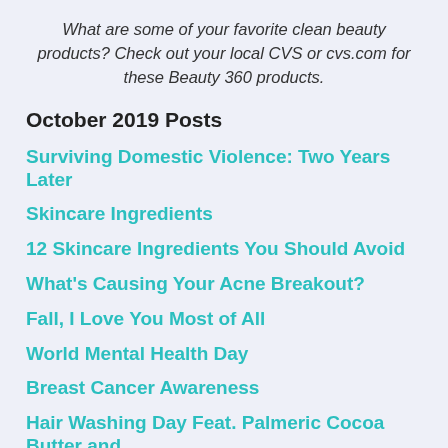What are some of your favorite clean beauty products? Check out your local CVS or cvs.com for these Beauty 360 products.
October 2019 Posts
Surviving Domestic Violence: Two Years Later
Skincare Ingredients
12 Skincare Ingredients You Should Avoid
What's Causing Your Acne Breakout?
Fall, I Love You Most of All
World Mental Health Day
Breast Cancer Awareness
Hair Washing Day Feat. Palmeric Cocoa Butter and